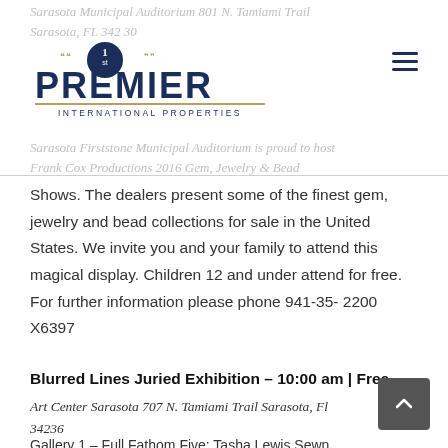Sarasota Municipal Auditorium 801 N. Tamiami Trail Sarasota, FL 34230
[Figure (logo): Premier International Properties logo with circular '1st' emblem and decorative text]
Sarasota Firststone Municipal Auditorium is proud to host Frank Cox Productions 2016 Gem, Jewelry & Bead Shows. The dealers present some of the finest gem, jewelry and bead collections for sale in the United States. We invite you and your family to attend this magical display. Children 12 and under attend for free. For further information please phone 941-35- 2200 X6397
Blurred Lines Juried Exhibition – 10:00 am | Free
Art Center Sarasota 707 N. Tamiami Trail Sarasota, Fl 34236
Gallery 1 – Full Fathom Five: Tasha Lewis Sewn